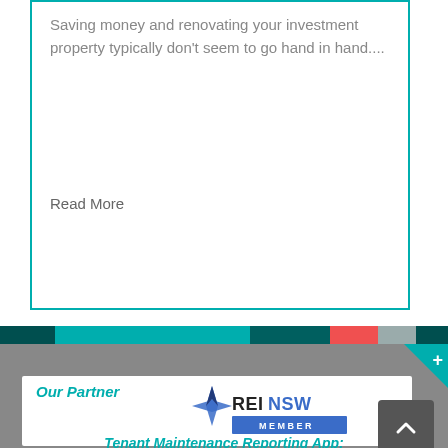Saving money and renovating your investment property typically don't seem to go hand in hand....
Read More
[Figure (infographic): Colored horizontal stripe bar dividing sections]
[Figure (logo): REINSW Member logo with diamond star icon]
Our Partner
Tenant Maintenance Reporting App: